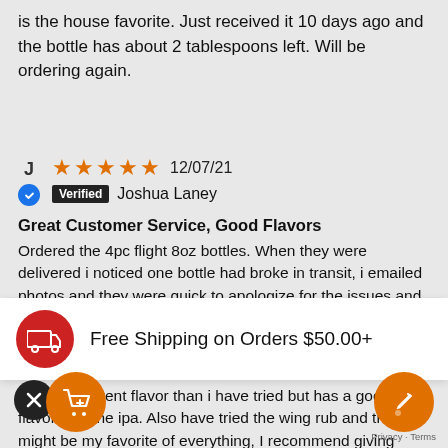is the house favorite. Just received it 10 days ago and the bottle has about 2 tablespoons left. Will be ordering again.
★★★★★  12/07/21
J  ✓ Verified  Joshua Laney
Great Customer Service, Good Flavors
Ordered the 4pc flight 8oz bottles. When they were delivered i noticed one bottle had broke in transit, i emailed photos and they were quick to apologize for the issues and offered to replace the one broken bottle. Well when the replacement showed up it had the replacement sauce, along with complimentary
Free Shipping on Orders $50.00+
rent flavor than i have tried but has a good flavor with the ipa. Also have tried the wing rub and that might be my favorite of everything, I recommend giving these all a try.
Privacy · Terms